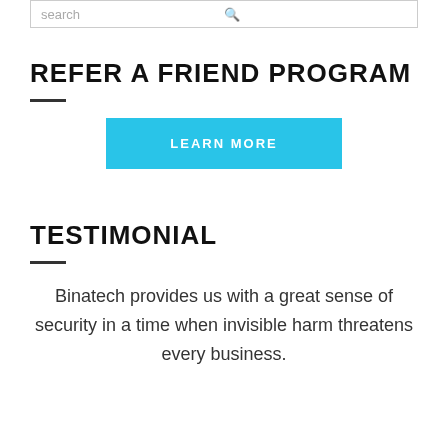search
REFER A FRIEND PROGRAM
[Figure (other): LEARN MORE button — cyan/blue rectangular button with white uppercase text]
TESTIMONIAL
Binatech provides us with a great sense of security in a time when invisible harm threatens every business.